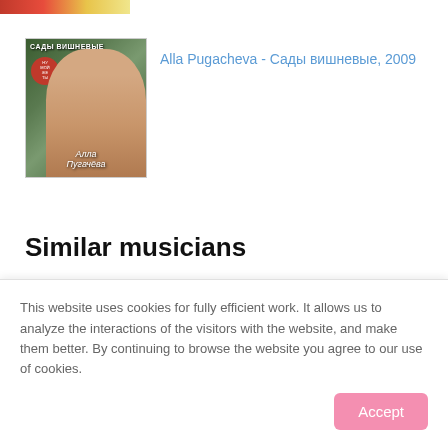[Figure (illustration): Partial view of a red/yellow album cover strip at top of page]
[Figure (photo): Album cover for 'Сады вишневые' (Cherry Gardens) by Alla Pugacheva, 2009. Shows a woman with blonde hair against a green floral background with a red circle badge and stylized Cyrillic title at top.]
Alla Pugacheva - Сады вишневые, 2009
Similar musicians
This website uses cookies for fully efficient work. It allows us to analyze the interactions of the visitors with the website, and make them better. By continuing to browse the website you agree to our use of cookies.